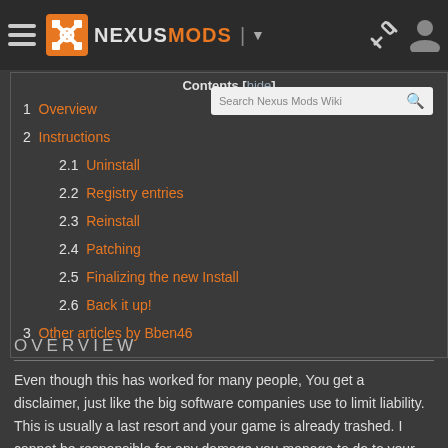NEXUSMODS
1 Overview
2 Instructions
2.1 Uninstall
2.2 Registry entries
2.3 Reinstall
2.4 Patching
2.5 Finalizing the new Install
2.6 Back it up!
3 Other articles by Bben46
OVERVIEW
Even though this has worked for many people, You get a disclaimer, just like the big software companies use to limit liability. This is usually a last resort and your game is already trashed. I cannot be responsible for any damage you manage to do to your game when trying this. You are free to use this procedure and post it as you see fit. If you make any changes